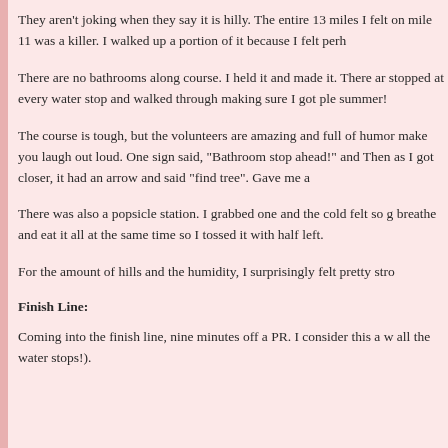They aren't joking when they say it is hilly. The entire 13 miles I felt on mile 11 was a killer. I walked up a portion of it because I felt perh
There are no bathrooms along course. I held it and made it. There ar stopped at every water stop and walked through making sure I got ple summer!
The course is tough, but the volunteers are amazing and full of humor make you laugh out loud. One sign said, "Bathroom stop ahead!" and Then as I got closer, it had an arrow and said "find tree". Gave me a
There was also a popsicle station. I grabbed one and the cold felt so breathe and eat it all at the same time so I tossed it with half left.
For the amount of hills and the humidity, I surprisingly felt pretty stro
Finish Line:
Coming into the finish line, nine minutes off a PR. I consider this a w all the water stops!).